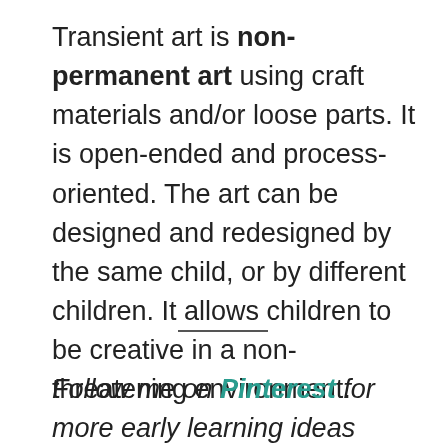Transient art is non-permanent art using craft materials and/or loose parts. It is open-ended and process-oriented. The art can be designed and redesigned by the same child, or by different children. It allows children to be creative in a non-threatening environment.
Follow me on Pinterest for more early learning ideas